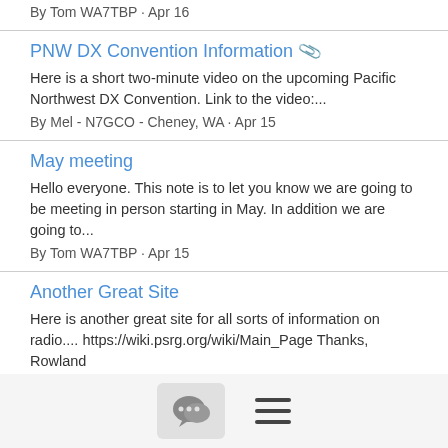By Tom WA7TBP · Apr 16
PNW DX Convention Information 📎
Here is a short two-minute video on the upcoming Pacific Northwest DX Convention. Link to the video:...
By Mel - N7GCO - Cheney, WA · Apr 15
May meeting
Hello everyone. This note is to let you know we are going to be meeting in person starting in May. In addition we are going to...
By Tom WA7TBP · Apr 15
Another Great Site
Here is another great site for all sorts of information on radio.... https://wiki.psrg.org/wiki/Main_Page Thanks, Rowland
By Rowland · Apr 14
Rookie Round Table
Inviting folks to join me to tonight on the Rookie Round Table to talk about things you all experienced when you first became a
[Figure (screenshot): Bottom toolbar with chat bubble icon button and hamburger menu icon]